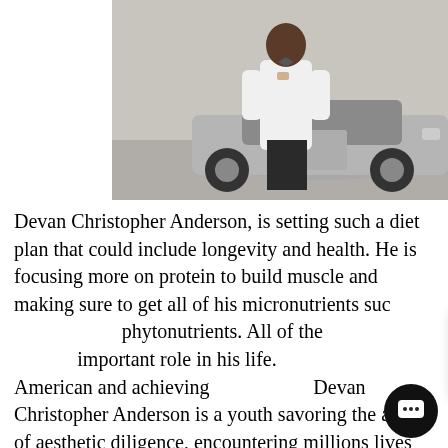[Figure (photo): A man in a white blazer and dark pants standing next to a silver/grey car, likely a luxury sedan. The photo appears to be taken outdoors.]
Devan Christopher Anderson, is setting such a diet plan that could include longevity and health. He is focusing more on protein to build muscle and making sure to get all of his micronutrients such as phytonutrients. All of the important role in his life. American and achieving Devan Christopher Anderson is a youth savoring the aroma of aesthetic diligence, encountering millions lives to reach out of their comfort zone to grasp for dreams. Such a boost to your confidence is all you
[Figure (screenshot): A chat popup overlay with an avatar and text reading 'Got any questions? I'm happy to help.' with an X close button.]